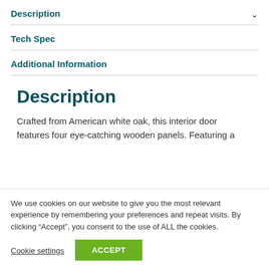Description
Tech Spec
Additional Information
Description
Crafted from American white oak, this interior door features four eye-catching wooden panels. Featuring a
We use cookies on our website to give you the most relevant experience by remembering your preferences and repeat visits. By clicking “Accept”, you consent to the use of ALL the cookies.
Cookie settings
ACCEPT